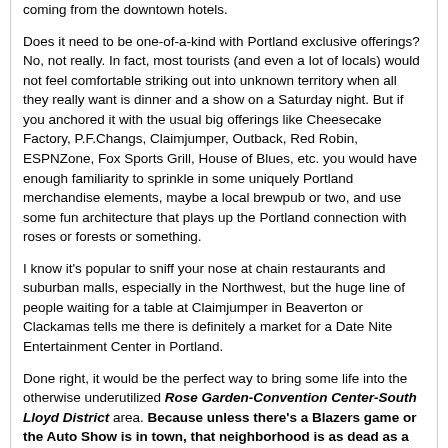coming from the downtown hotels.
Does it need to be one-of-a-kind with Portland exclusive offerings? No, not really. In fact, most tourists (and even a lot of locals) would not feel comfortable striking out into unknown territory when all they really want is dinner and a show on a Saturday night. But if you anchored it with the usual big offerings like Cheesecake Factory, P.F.Changs, Claimjumper, Outback, Red Robin, ESPNZone, Fox Sports Grill, House of Blues, etc. you would have enough familiarity to sprinkle in some uniquely Portland merchandise elements, maybe a local brewpub or two, and use some fun architecture that plays up the Portland connection with roses or forests or something.
I know it's popular to sniff your nose at chain restaurants and suburban malls, especially in the Northwest, but the huge line of people waiting for a table at Claimjumper in Beaverton or Clackamas tells me there is definitely a market for a Date Nite Entertainment Center in Portland.
Done right, it would be the perfect way to bring some life into the otherwise underutilized Rose Garden-Convention Center-South Lloyd District area. Because unless there's a Blazers game or the Auto Show is in town, that neighborhood is as dead as a doornail.
PDX City-State
Jun 15, 2008 9:09 AM
I'm not opposed in theory to a few blocks of chain restaurants near the Lloyd and Convention Center. The problem is, locals won't support